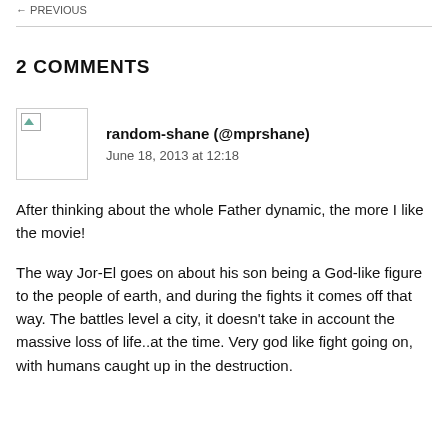← PREVIOUS
2 COMMENTS
random-shane (@mprshane)
June 18, 2013 at 12:18
After thinking about the whole Father dynamic, the more I like the movie!
The way Jor-El goes on about his son being a God-like figure to the people of earth, and during the fights it comes off that way. The battles level a city, it doesn't take in account the massive loss of life..at the time. Very god like fight going on, with humans caught up in the destruction.